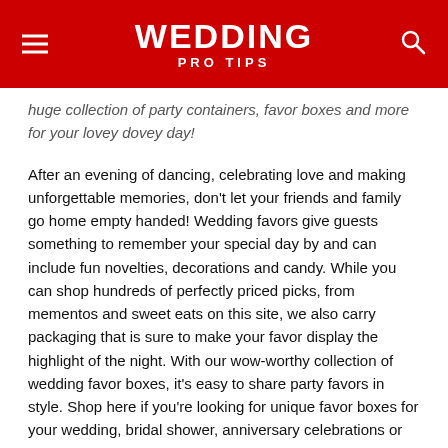WEDDING PRO TIPS
huge collection of party containers, favor boxes and more for your lovey dovey day!
After an evening of dancing, celebrating love and making unforgettable memories, don't let your friends and family go home empty handed! Wedding favors give guests something to remember your special day by and can include fun novelties, decorations and candy. While you can shop hundreds of perfectly priced picks, from mementos and sweet eats on this site, we also carry packaging that is sure to make your favor display the highlight of the night. With our wow-worthy collection of wedding favor boxes, it's easy to share party favors in style. Shop here if you're looking for unique favor boxes for your wedding, bridal shower, anniversary celebrations or any other big event leading up the nuptials.
For an event this special, don't just rely on the same old gift bags. Make your favors standout with our goody boxes. Bright and sleek, the unique shape of each one is a great way to catch guests' eyes. Whether you need red favor boxes for your autumnal wedding or glittering boxes for